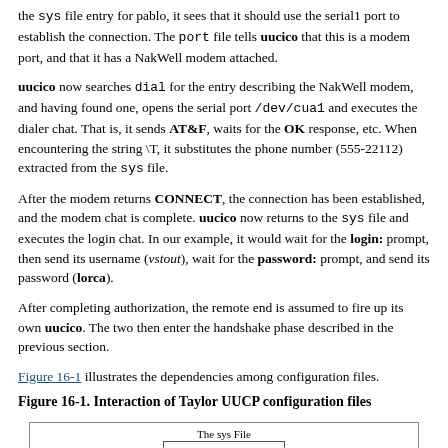the sys file entry for pablo, it sees that it should use the serial1 port to establish the connection. The port file tells uucico that this is a modem port, and that it has a NakWell modem attached.
uucico now searches dial for the entry describing the NakWell modem, and having found one, opens the serial port /dev/cua1 and executes the dialer chat. That is, it sends AT&F, waits for the OK response, etc. When encountering the string \T, it substitutes the phone number (555-22112) extracted from the sys file.
After the modem returns CONNECT, the connection has been established, and the modem chat is complete. uucico now returns to the sys file and executes the login chat. In our example, it would wait for the login: prompt, then send its username (vstout), wait for the password: prompt, and send its password (lorca).
After completing authorization, the remote end is assumed to fire up its own uucico. The two then enter the handshake phase described in the previous section.
Figure 16-1 illustrates the dependencies among configuration files.
Figure 16-1. Interaction of Taylor UUCP configuration files
[Figure (other): A diagram box labeled 'The sys File' with a rectangle inside representing a file entry block.]